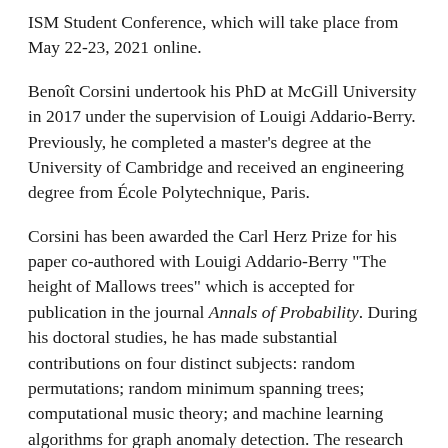ISM Student Conference, which will take place from May 22-23, 2021 online.
Benoît Corsini undertook his PhD at McGill University in 2017 under the supervision of Louigi Addario-Berry. Previously, he completed a master's degree at the University of Cambridge and received an engineering degree from École Polytechnique, Paris.
Corsini has been awarded the Carl Herz Prize for his paper co-authored with Louigi Addario-Berry "The height of Mallows trees" which is accepted for publication in the journal Annals of Probability. During his doctoral studies, he has made substantial contributions on four distinct subjects: random permutations; random minimum spanning trees; computational music theory; and machine learning algorithms for graph anomaly detection. The research contribution for which he has been awarded the Carl Herz Prize describes the asymptotic behaviour of